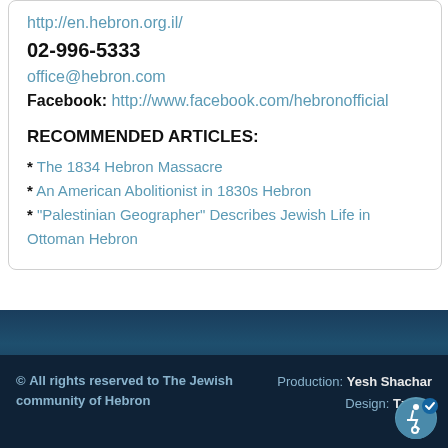http://en.hebron.org.il/
02-996-5333
office@hebron.com
Facebook: http://www.facebook.com/hebronofficial
RECOMMENDED ARTICLES:
* The 1834 Hebron Massacre
* An American Abolitionist in 1830s Hebron
* "Palestinian Geographer" Describes Jewish Life in Ottoman Hebron
© All rights reserved to The Jewish community of Hebron  Production: Yesh Shachar  Design: Tzinor